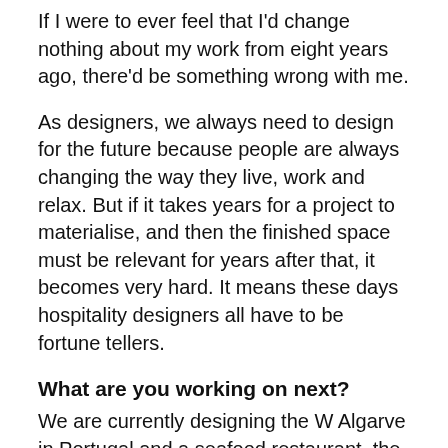If I were to ever feel that I'd change nothing about my work from eight years ago, there'd be something wrong with me.
As designers, we always need to design for the future because people are always changing the way they live, work and relax. But if it takes years for a project to materialise, and then the finished space must be relevant for years after that, it becomes very hard. It means these days hospitality designers all have to be fortune tellers.
What are you working on next?
We are currently designing the W Algarve in Portugal and a seafood restaurant, the Paper Moon Giardino, in Milan. Both are very exciting, but perhaps our biggest forthcoming project is the renovation of the Beijing Hotel, a monumental 100-year-old…